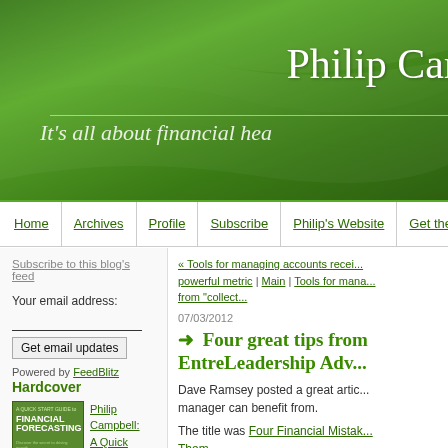Philip Car...
It's all about financial hea...
Home | Archives | Profile | Subscribe | Philip's Website | Get the Book
Subscribe to this blog's feed
Your email address:
Get email updates
Powered by FeedBlitz
Hardcover
[Figure (illustration): Book cover: A Quick Start Guide to Financial Forecasting]
Philip Campbell: A Quick Start Guide to Financial
« Tools for managing accounts recei... powerful metric | Main | Tools for mana... from "collect...
07/03/2012
➜ Four great tips from EntreLeadership Adv...
Dave Ramsey posted a great artic... manager can benefit from.
The title was Four Financial Mistak... Them.
He says "there are some goof-ups... can kill a business".